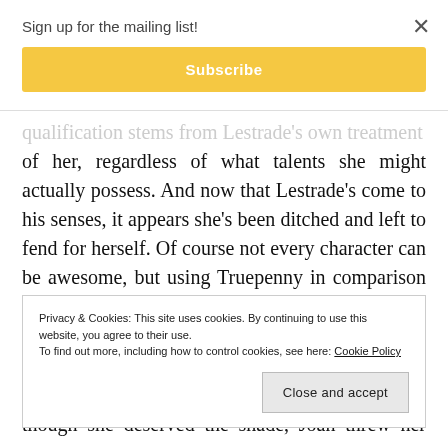Sign up for the mailing list!
Subscribe
qualification stems from Lestrade’s own treatment of her, regardless of what talents she might actually possess. And now that Lestrade’s come to his senses, it appears she’s been ditched and left to fend for herself. Of course not every character can be awesome, but using Truepenny in comparison to Joan to really hammer the point of Lestrade being a poor imitation makes her into little more than a caricature
Privacy & Cookies: This site uses cookies. By continuing to use this website, you agree to their use.
To find out more, including how to control cookies, see here: Cookie Policy
Close and accept
though she deserved the shade, Joan threw her way